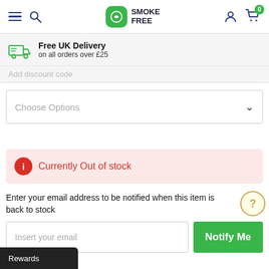Smoke Free navigation header with hamburger menu, search, logo, account and cart icons (0 items)
Free UK Delivery on all orders over £25
Add discount code
Choose Options
Currently Out of stock
Enter your email address to be notified when this item is back to stock
Insert your email
Notify Me
Rewards